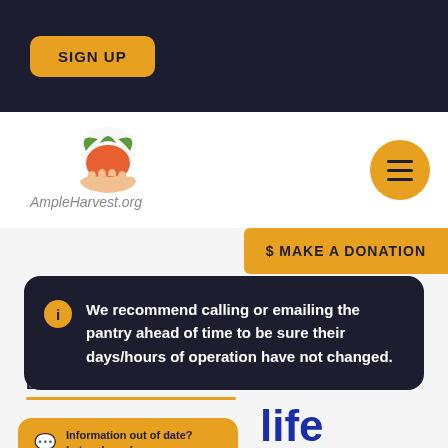SIGN UP
[Figure (logo): AmpleHarvest.org logo with tomato and hand graphic]
[Figure (other): Yellow circular hamburger menu button]
$ MAKE A DONATION
We recommend calling or emailing the pantry ahead of time to be sure their days/hours of operation have not changed.
Back to All Pantries
Information out of date? Let us know!
life